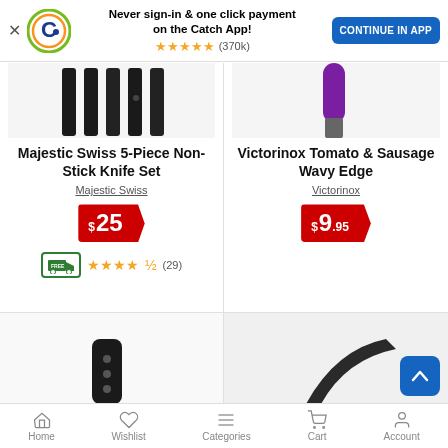[Figure (screenshot): App banner with Catch logo, 'Never sign-in & one click payment on the Catch App!' text, star rating (370k reviews), and CONTINUE IN APP button]
[Figure (photo): Majestic Swiss 5-piece knife set product image showing black knife handles]
Majestic Swiss 5-Piece Non-Stick Knife Set
Majestic Swiss
$25
[Figure (infographic): Free delivery truck icon and 4.5 star rating with (29) reviews]
[Figure (photo): Victorinox Tomato & Sausage Wavy Edge knife product image showing purple handle]
Victorinox Tomato & Sausage Wavy Edge
Victorinox
$9.95
[Figure (photo): Bottom left product image showing partial view of black knife]
[Figure (photo): Bottom right product image showing partial view of dark knife blade]
Home  Wishlist  Categories  Cart  Account